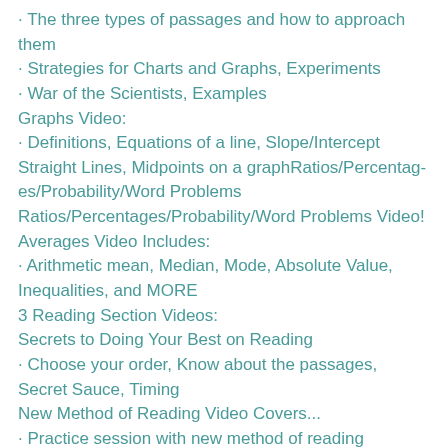· The three types of passages and how to approach them
· Strategies for Charts and Graphs, Experiments
· War of the Scientists, Examples
Graphs Video:
· Definitions, Equations of a line, Slope/Intercept Straight Lines, Midpoints on a graphRatios/Percentages/Probability/Word Problems
Ratios/Percentages/Probability/Word Problems Video!
Averages Video Includes:
· Arithmetic mean, Median, Mode, Absolute Value, Inequalities, and MORE
3 Reading Section Videos:
Secrets to Doing Your Best on Reading
· Choose your order, Know about the passages, Secret Sauce, Timing
New Method of Reading Video Covers...
· Practice session with new method of reading